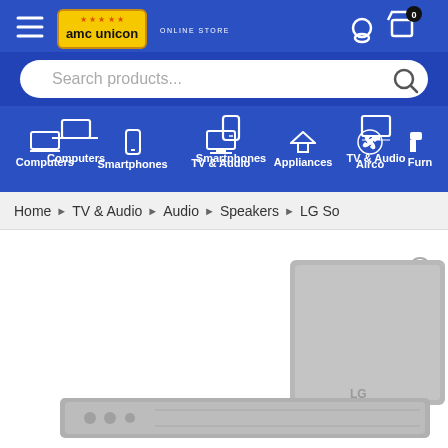[Figure (screenshot): AMC Unicon online store header with logo, hamburger menu, user icon, cart icon with 0 items, search bar, and navigation categories: Computers, Smartphones, TV & Audio, Appliances, Airco, Furn]
Home > TV & Audio > Audio > Speakers > LG So
[Figure (photo): LG soundbar and wireless subwoofer product photo on white background with zoom icon]